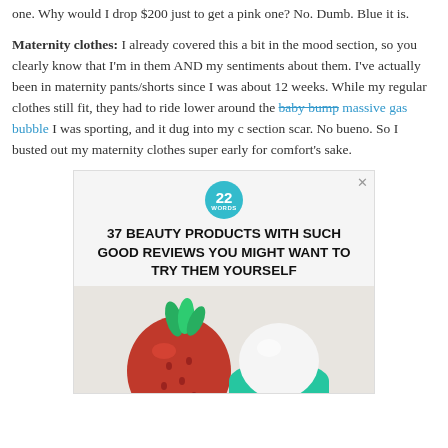one. Why would I drop $200 just to get a pink one? No. Dumb. Blue it is.
Maternity clothes: I already covered this a bit in the mood section, so you clearly know that I'm in them AND my sentiments about them. I've actually been in maternity pants/shorts since I was about 12 weeks. While my regular clothes still fit, they had to ride lower around the baby bump massive gas bubble I was sporting, and it dug into my c section scar. No bueno. So I busted out my maternity clothes super early for comfort's sake.
[Figure (other): Advertisement for '22 Words' website showing '37 Beauty Products With Such Good Reviews You Might Want To Try Them Yourself' with an image of a strawberry next to an EOS lip balm product]